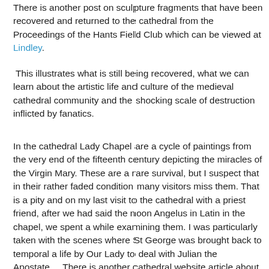There is another post on sculpture fragments that have been recovered and returned to the cathedral from the Proceedings of the Hants Field Club which can be viewed at Lindley.
This illustrates what is still being recovered, what we can learn about the artistic life and culture of the medieval cathedral community and the shocking scale of destruction inflicted by fanatics.
In the cathedral Lady Chapel are a cycle of paintings from the very end of the fifteenth century depicting the miracles of the Virgin Mary. These are a rare survival, but I suspect that in their rather faded condition many visitors miss them. That is a pity and on my last visit to the cathedral with a priest friend, after we had said the noon Angelus in Latin in the chapel, we spent a while examining them. I was particularly taken with the scenes where St George was brought back to temporal a life by Our Lady to deal with Julian the Apostate.... There is another cathedral website article about the paintings with photographs of each panel which can be